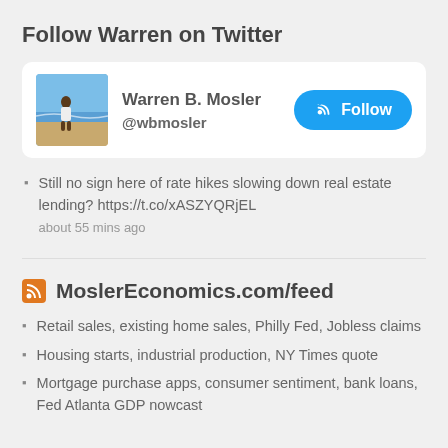Follow Warren on Twitter
[Figure (screenshot): Twitter profile card for Warren B. Mosler (@wbmosler) with avatar photo and Follow button]
Still no sign here of rate hikes slowing down real estate lending? https://t.co/xASZYQRjEL
about 55 mins ago
MoslerEconomics.com/feed
Retail sales, existing home sales, Philly Fed, Jobless claims
Housing starts, industrial production, NY Times quote
Mortgage purchase apps, consumer sentiment, bank loans, Fed Atlanta GDP nowcast